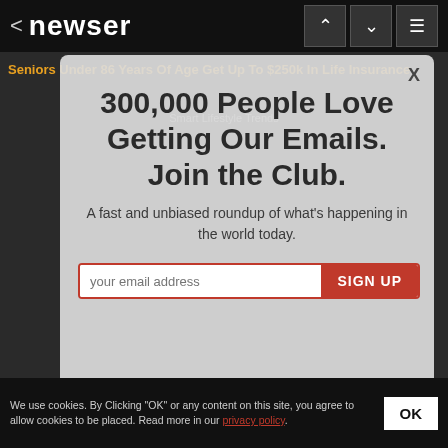< newser
Seniors Under 86 Years Of Age Get Up To $250k In Life Insurance  Smart Lifestyle Trends
300,000 People Love Getting Our Emails. Join the Club.
A fast and unbiased roundup of what's happening in the world today.
your email address  SIGN UP
We use cookies. By Clicking "OK" or any content on this site, you agree to allow cookies to be placed. Read more in our privacy policy.